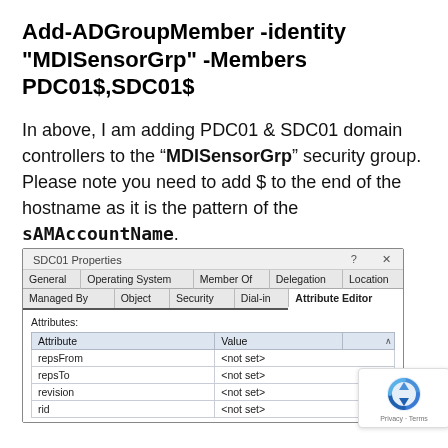Add-ADGroupMember -identity "MDISensorGrp" -Members PDC01$,SDC01$
In above, I am adding PDC01 & SDC01 domain controllers to the "MDISensorGrp" security group. Please note you need to add $ to the end of the hostname as it is the pattern of the sAMAccountName.
[Figure (screenshot): SDC01 Properties dialog window showing tabs: General, Operating System, Member Of, Delegation, Location, Managed By, Object, Security, Dial-in, Attribute Editor. The Attribute Editor tab is active, showing an Attributes table with columns Attribute and Value. Rows: repsFrom <not set>, repsTo <not set>, revision <not set>, rid <not set>.]